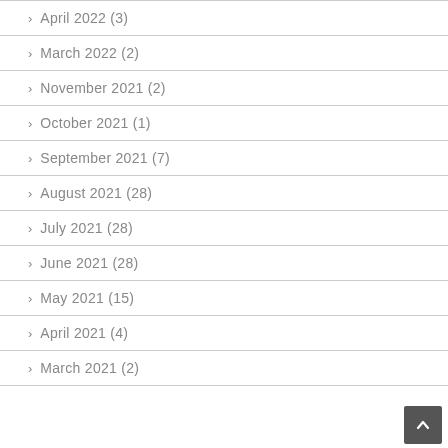April 2022 (3)
March 2022 (2)
November 2021 (2)
October 2021 (1)
September 2021 (7)
August 2021 (28)
July 2021 (28)
June 2021 (28)
May 2021 (15)
April 2021 (4)
March 2021 (2)